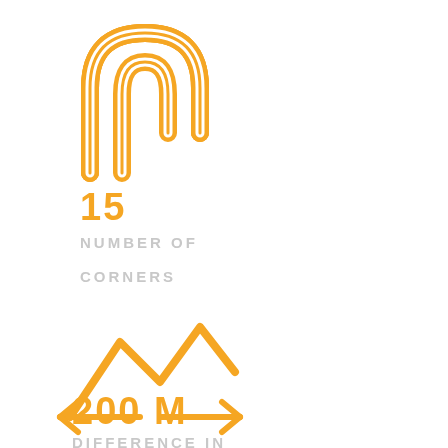[Figure (illustration): Orange icon of a winding road / hairpin curve symbol made of two parallel curved lines]
15
NUMBER OF
CORNERS
[Figure (illustration): Orange icon of mountain peaks with lines extending from the base representing elevation difference]
200 M
DIFFERENCE IN